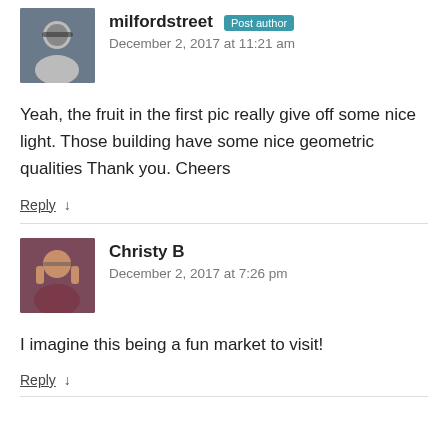milfordstreet Post author
December 2, 2017 at 11:21 am
Yeah, the fruit in the first pic really give off some nice light. Those building have some nice geometric qualities Thank you. Cheers
Reply ↓
Christy B
December 2, 2017 at 7:26 pm
I imagine this being a fun market to visit!
Reply ↓